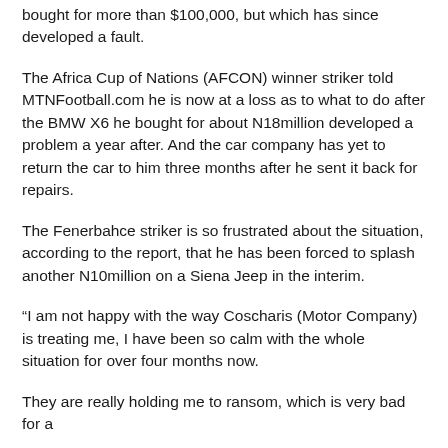bought for more than $100,000, but which has since developed a fault.
The Africa Cup of Nations (AFCON) winner striker told MTNFootball.com he is now at a loss as to what to do after the BMW X6 he bought for about N18million developed a problem a year after. And the car company has yet to return the car to him three months after he sent it back for repairs.
The Fenerbahce striker is so frustrated about the situation, according to the report, that he has been forced to splash another N10million on a Siena Jeep in the interim.
“I am not happy with the way Coscharis (Motor Company) is treating me, I have been so calm with the whole situation for over four months now.
They are really holding me to ransom, which is very bad for a